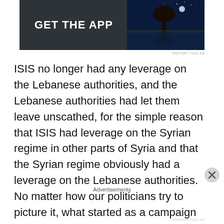[Figure (other): Advertisement banner with dark background showing 'GET THE APP' text in white bold letters, and a night sky photo of a lone tree on the right side.]
ISIS no longer had any leverage on the Lebanese authorities, and the Lebanese authorities had let them leave unscathed, for the simple reason that ISIS had leverage on the Syrian regime in other parts of Syria and that the Syrian regime obviously had a leverage on the Lebanese authorities. No matter how our politicians try to picture it, what started as a campaign to establish Lebanese sovereignty in the North-East ironically turned out to be the exact opposite. Does it really matter who rules the arid oustskirts if we end up with no accountabilit
Advertisements